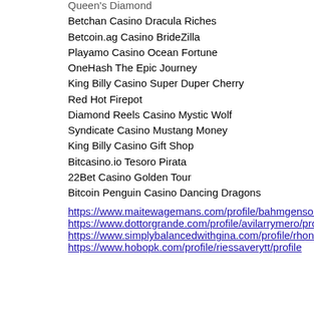Queen's Diamond
Betchan Casino Dracula Riches
Betcoin.ag Casino BrideZilla
Playamo Casino Ocean Fortune
OneHash The Epic Journey
King Billy Casino Super Duper Cherry
Red Hot Firepot
Diamond Reels Casino Mystic Wolf
Syndicate Casino Mustang Money
King Billy Casino Gift Shop
Bitcasino.io Tesoro Pirata
22Bet Casino Golden Tour
Bitcoin Penguin Casino Dancing Dragons
https://www.maitewagemans.com/profile/bahmgensonm/profile https://www.dottorgrande.com/profile/avilarrymero/profile https://www.simplybalancedwithgina.com/profile/rhonegiere9/profile https://www.hobopk.com/profile/riessaverytt/profile